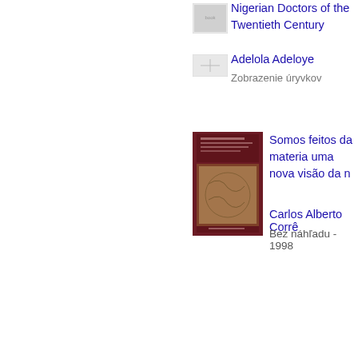Nigerian Doctors of the Twentieth Century
Adelola Adeloye
Zobrazenie úryvkov
[Figure (illustration): Small book cover thumbnail for Nigerian Doctors book]
[Figure (illustration): Book cover for Somos feitos da mesma materia - dark red/maroon cover with map design]
Somos feitos da mesma materia uma nova visão da natureza
Carlos Alberto Corrê
Bez náhľadu - 1998
O tomto autorovi (1971)
William Shakespeare, 1564 - 1616 Although there are many myths and mysteries surrounding William Shakespeare, a great deal is actually known about his life. He was born in Stratford-Upon-Avon and